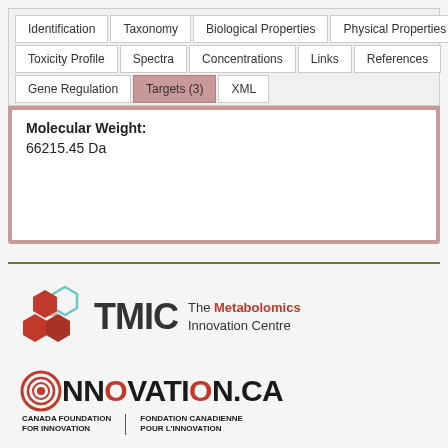[Figure (screenshot): Navigation tab bar with tabs: Identification, Taxonomy, Biological Properties, Physical Properties, Toxicity Profile, Spectra, Concentrations, Links, References, Gene Regulation, Targets (3) [active/highlighted], XML]
Molecular Weight: 66215.45 Da
[Figure (logo): TMIC - The Metabolomics Innovation Centre logo with red hexagon cluster icon]
[Figure (logo): INNOVATION.CA - Canada Foundation for Innovation / Fondation Canadienne Pour L'Innovation logo]